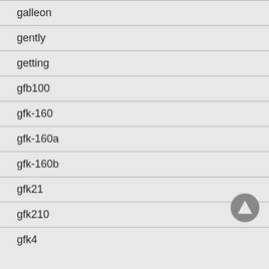galleon
gently
getting
gfb100
gfk-160
gfk-160a
gfk-160b
gfk21
gfk210
gfk4